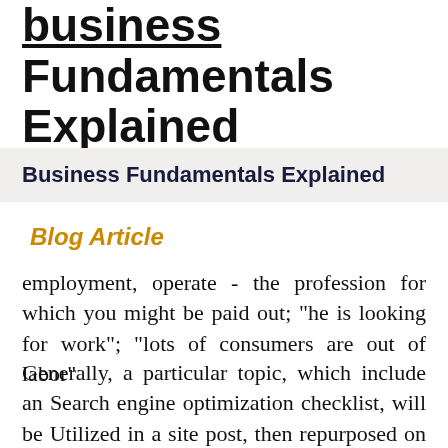business Fundamentals Explained
Business Fundamentals Explained
Blog Article
employment, operate - the profession for which you might be paid out; "he is looking for work"; "lots of consumers are out of labor"
Generally, a particular topic, which include an Search engine optimization checklist, will be Utilized in a site post, then repurposed on other platforms and